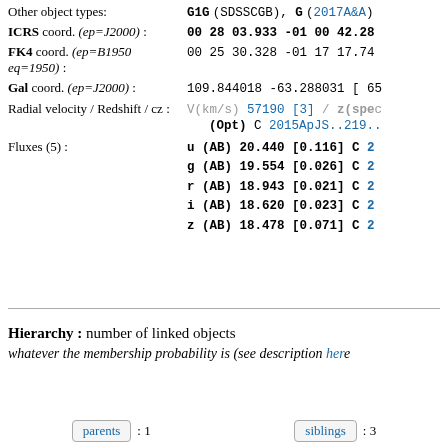Other object types: G1G (SDSSCGB), G (2017A&A)
ICRS coord. (ep=J2000) : 00 28 03.933 -01 00 42.28
FK4 coord. (ep=B1950 eq=1950) : 00 25 30.328 -01 17 17.74
Gal coord. (ep=J2000) : 109.844018 -63.288031 [ 65
Radial velocity / Redshift / cz : V(km/s) 57190 [3] / z(spec) (Opt) C 2015ApJS..219..
Fluxes (5) : u (AB) 20.440 [0.116] C 2... g (AB) 19.554 [0.026] C 2... r (AB) 18.943 [0.021] C 2... i (AB) 18.620 [0.023] C 2... z (AB) 18.478 [0.071] C 2...
Hierarchy : number of linked objects whatever the membership probability is (see description here
parents : 1
siblings : 3